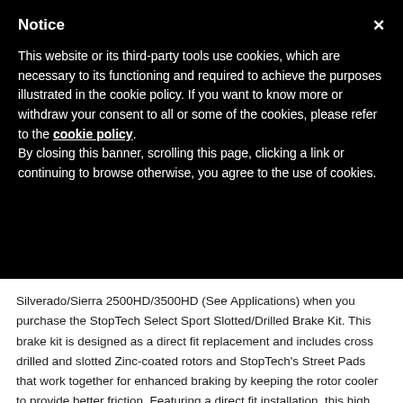Notice
This website or its third-party tools use cookies, which are necessary to its functioning and required to achieve the purposes illustrated in the cookie policy. If you want to know more or withdraw your consent to all or some of the cookies, please refer to the cookie policy. By closing this banner, scrolling this page, clicking a link or continuing to browse otherwise, you agree to the use of cookies.
Silverado/Sierra 2500HD/3500HD (See Applications) when you purchase the StopTech Select Sport Slotted/Drilled Brake Kit. This brake kit is designed as a direct fit replacement and includes cross drilled and slotted Zinc-coated rotors and StopTech's Street Pads that work together for enhanced braking by keeping the rotor cooler to provide better friction. Featuring a direct fit installation, this high performance brake kit results in